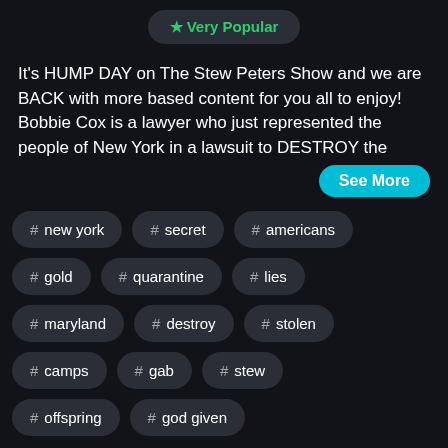[Figure (other): Very Popular badge with green star icon]
It's HUMP DAY on The Stew Peters Show and we are BACK with more based content for you all to enjoy! Bobbie Cox is a lawyer who just represented the people of New York in a lawsuit to DESTROY the
See More
# new york
# secret
# americans
# gold
# quarantine
# lies
# maryland
# destroy
# stolen
# camps
# gab
# stew
# offspring
# god given